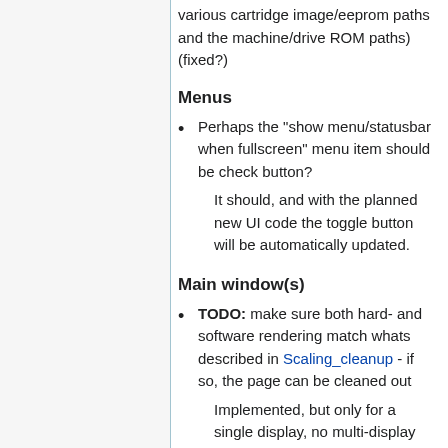various cartridge image/eeprom paths and the machine/drive ROM paths) (fixed?)
Menus
Perhaps the "show menu/statusbar when fullscreen" menu item should be check button?
It should, and with the planned new UI code the toggle button will be automatically updated.
Main window(s)
TODO: make sure both hard- and software rendering match whats described in Scaling_cleanup - if so, the page can be cleaned out
Implemented, but only for a single display, no multi-display support yet. GDK seem to support multi-